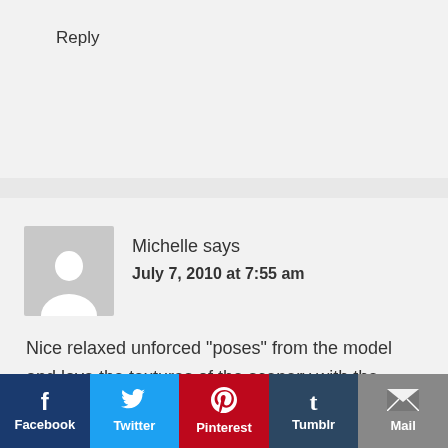Reply
[Figure (illustration): Generic user avatar placeholder — grey square with white silhouette of a person]
Michelle says
July 7, 2010 at 7:55 am
Nice relaxed unforced "poses" from the model and love the textures of the scenery with the clothes
Facebook  Twitter  Pinterest  Tumblr  Mail